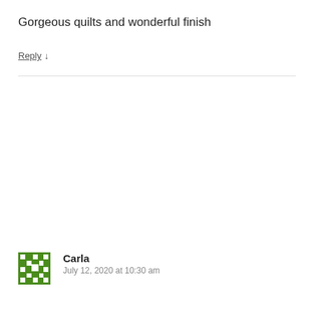Gorgeous quilts and wonderful finish
Reply ↓
Carla
July 12, 2020 at 10:30 am